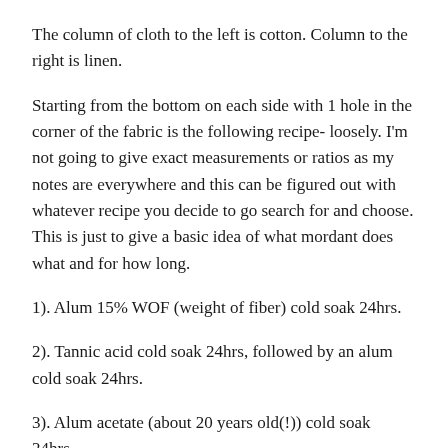The column of cloth to the left is cotton. Column to the right is linen.
Starting from the bottom on each side with 1 hole in the corner of the fabric is the following recipe- loosely. I'm not going to give exact measurements or ratios as my notes are everywhere and this can be figured out with whatever recipe you decide to go search for and choose. This is just to give a basic idea of what mordant does what and for how long.
1). Alum 15% WOF (weight of fiber) cold soak 24hrs.
2). Tannic acid cold soak 24hrs, followed by an alum cold soak 24hrs.
3). Alum acetate (about 20 years old(!)) cold soak 24hrs.